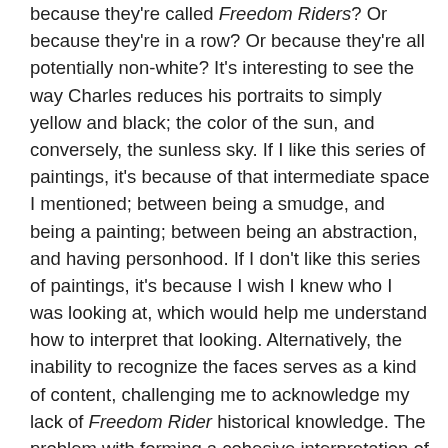because they're called Freedom Riders? Or because they're in a row? Or because they're all potentially non-white? It's interesting to see the way Charles reduces his portraits to simply yellow and black; the color of the sun, and conversely, the sunless sky. If I like this series of paintings, it's because of that intermediate space I mentioned; between being a smudge, and being a painting; between being an abstraction, and having personhood. If I don't like this series of paintings, it's because I wish I knew who I was looking at, which would help me understand how to interpret that looking. Alternatively, the inability to recognize the faces serves as a kind of content, challenging me to acknowledge my lack of Freedom Rider historical knowledge. The problem with forming a cohesive interpretation of Yellow (Freedom Riders) is that so much of that interpretation hinges on the knowledge of the onlooker; and knowledge, as we know, can be dependent on one's position. But the more I think about it, the more I like this turn; I know that Charles wants his work to inspire positivity, and in this regard, I am